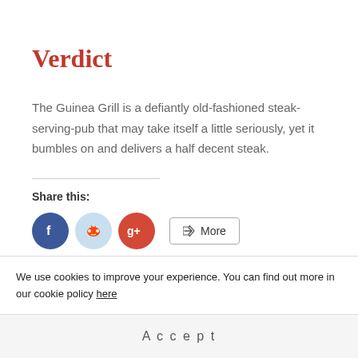Verdict
The Guinea Grill is a defiantly old-fashioned steak-serving-pub that may take itself a little seriously, yet it bumbles on and delivers a half decent steak.
Share this:
[Figure (other): Social share buttons: Facebook (blue circle), Reddit (light blue circle), Google+ (red circle), and a More button with share icon]
Related
We use cookies to improve your experience. You can find out more in our cookie policy here
Accept